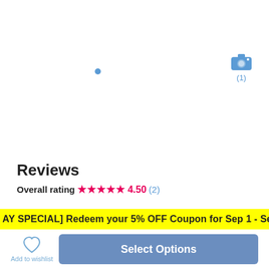[Figure (other): Blue dot marker and camera icon with photo count (1) on a white background product image area]
Reviews
Overall rating ★★★★★ 4.50 (2)
[AY SPECIAL] Redeem your 5% OFF Coupon for Sep 1 - Sep 30, 2022
3-hour Afternoon Shared Fishing Trip    USD 86.91
Add to wishlist
Select Options